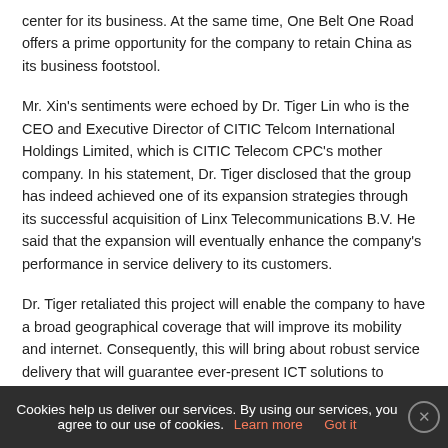center for its business. At the same time, One Belt One Road offers a prime opportunity for the company to retain China as its business footstool.
Mr. Xin's sentiments were echoed by Dr. Tiger Lin who is the CEO and Executive Director of CITIC Telcom International Holdings Limited, which is CITIC Telecom CPC's mother company. In his statement, Dr. Tiger disclosed that the group has indeed achieved one of its expansion strategies through its successful acquisition of Linx Telecommunications B.V. He said that the expansion will eventually enhance the company's performance in service delivery to its customers.
Dr. Tiger retaliated this project will enable the company to have a broad geographical coverage that will improve its mobility and internet. Consequently, this will bring about robust service delivery that will guarantee ever-present ICT solutions to customers in the vast global online market. He concluded by saying that the company will not rest here but dedicate more
Cookies help us deliver our services. By using our services, you agree to our use of cookies. Learn more Got it